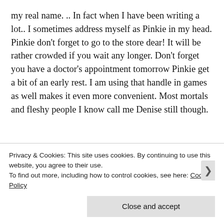my real name. .. In fact when I have been writing a lot.. I sometimes address myself as Pinkie in my head. Pinkie don't forget to go to the store dear! It will be rather crowded if you wait any longer. Don't forget you have a doctor's appointment tomorrow Pinkie get a bit of an early rest. I am using that handle in games as well makes it even more convenient. Most mortals and fleshy people I know call me Denise still though.
[Figure (illustration): Cartoon illustration of a pink pig-like character peeking up from the bottom, showing the top of its round pink head with small ear-like protrusions and a bow/flower decoration.]
Privacy & Cookies: This site uses cookies. By continuing to use this website, you agree to their use.
To find out more, including how to control cookies, see here: Cookie Policy
Close and accept